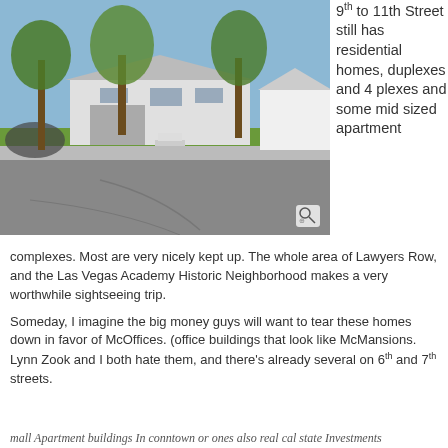[Figure (photo): Street-level photo of a white residential house with trees in front, on a wide road. Shows single-family homes and adjacent white buildings.]
9th to 11th Street still has residential homes, duplexes and 4 plexes and some mid sized apartment complexes. Most are very nicely kept up. The whole area of Lawyers Row, and the Las Vegas Academy Historic Neighborhood makes a very worthwhile sightseeing trip.
Someday, I imagine the big money guys will want to tear these homes down in favor of McOffices. (office buildings that look like McMansions. Lynn Zook and I both hate them, and there's already several on 6th and 7th streets.
mall Apartment buildings In conntown or ones also real cal state Investments